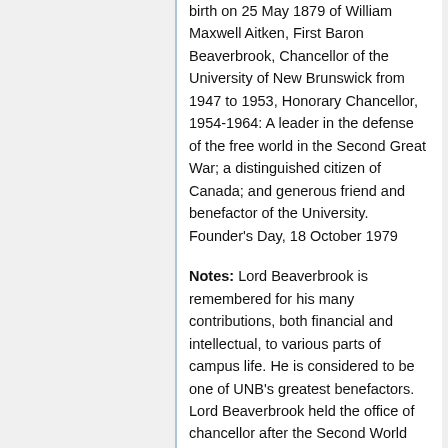birth on 25 May 1879 of William Maxwell Aitken, First Baron Beaverbrook, Chancellor of the University of New Brunswick from 1947 to 1953, Honorary Chancellor, 1954-1964: A leader in the defense of the free world in the Second Great War; a distinguished citizen of Canada; and generous friend and benefactor of the University. Founder's Day, 18 October 1979
Notes: Lord Beaverbrook is remembered for his many contributions, both financial and intellectual, to various parts of campus life. He is considered to be one of UNB's greatest benefactors. Lord Beaverbrook held the office of chancellor after the Second World War. He funded various building projects, which included constructions and contributions to residence, athletic, and